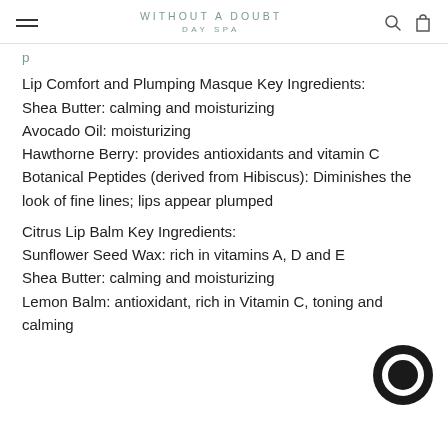WITHOUT A DOUBT DAY SPA
Lip Comfort and Plumping Masque Key Ingredients:
Shea Butter: calming and moisturizing
Avocado Oil: moisturizing
Hawthorne Berry: provides antioxidants and vitamin C
Botanical Peptides (derived from Hibiscus): Diminishes the look of fine lines; lips appear plumped
Citrus Lip Balm Key Ingredients:
Sunflower Seed Wax: rich in vitamins A, D and E
Shea Butter: calming and moisturizing
Lemon Balm: antioxidant, rich in Vitamin C, toning and calming